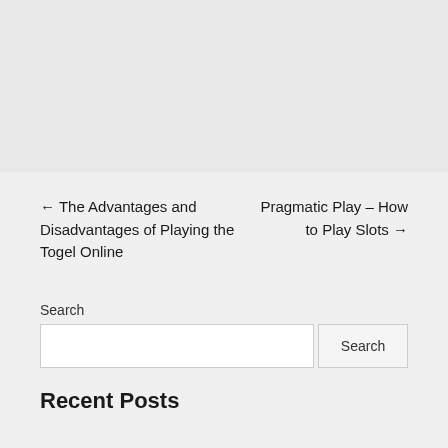[Figure (other): Top gray banner area]
← The Advantages and Disadvantages of Playing the Togel Online
Pragmatic Play – How to Play Slots →
Search
Recent Posts